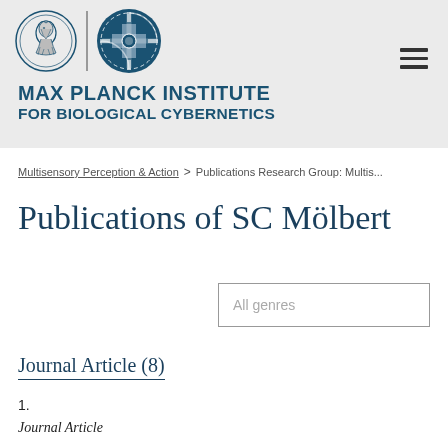[Figure (logo): Max Planck Institute for Biological Cybernetics logo with Minerva medallion and MPI gear emblem]
MAX PLANCK INSTITUTE FOR BIOLOGICAL CYBERNETICS
Multisensory Perception & Action > Publications Research Group: Multis...
Publications of SC Mölbert
All genres
Journal Article (8)
1.
Journal Article